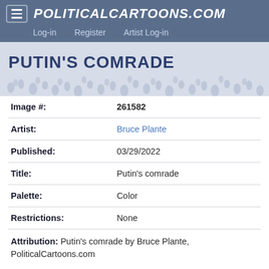POLITICALCARTOONS.COM  Log-in  Register  Artist Log-in
PUTIN'S COMRADE
| Image #: | 261582 |
| Artist: | Bruce Plante |
| Published: | 03/29/2022 |
| Title: | Putin's comrade |
| Palette: | Color |
| Restrictions: | None |
Attribution: Putin's comrade by Bruce Plante, PoliticalCartoons.com